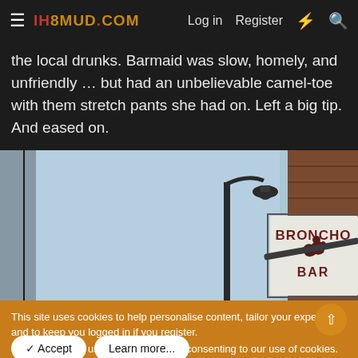≡ IH8MUD.COM  Log in  Register  ⚡  🔍
the local drunks. Barmaid was slow, homely, and unfriendly … but had an unbelievable camel-toe with them stretch pants she had on. Left a big tip. And eased on.
[Figure (photo): Street scene showing a lamppost against a blue sky and the side of a brick building with a 'Broncho Bar' sign visible.]
This site uses cookies to help personalise content, tailor your experience and to keep you logged in if you register. By continuing to use this site, you are consenting to our use of cookies.
✓ Accept  Learn more...